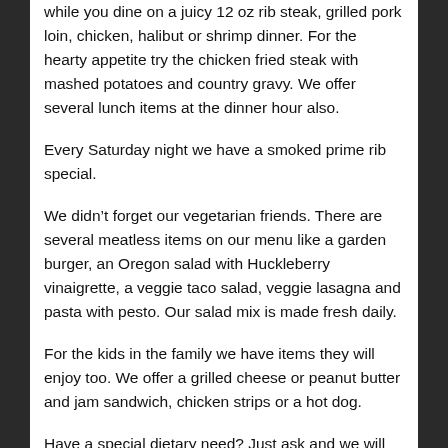while you dine on a juicy 12 oz rib steak, grilled pork loin, chicken, halibut or shrimp dinner.  For the hearty appetite try the chicken fried steak with mashed potatoes and country gravy.  We offer several lunch items at the dinner hour also.
Every Saturday night we have a smoked prime rib special.
We didn’t forget our vegetarian friends.  There are several meatless items on our menu like a garden burger, an Oregon salad with Huckleberry vinaigrette, a veggie taco salad, veggie lasagna and pasta with pesto. Our salad mix is made fresh daily.
For the kids in the family we have items they will enjoy too. We offer a grilled cheese or peanut butter and jam sandwich, chicken strips or a hot dog.
Have a special dietary need?  Just ask and we will do what we can to accommodate your needs.